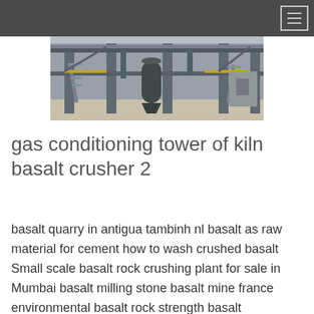[Figure (photo): Industrial gas conditioning tower / basalt crusher plant — large steel structure with elevated walkways, cylindrical vessel, columns, and stairways at an industrial facility.]
gas conditioning tower of kiln basalt crusher 2
basalt quarry in antigua tambinh nl basalt as raw material for cement how to wash crushed basalt Small scale basalt rock crushing plant for sale in Mumbai basalt milling stone basalt mine france environmental basalt rock strength basalt